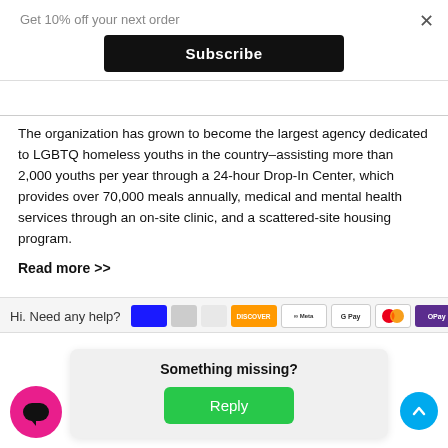Get 10% off your next order
×
Subscribe
The organization has grown to become the largest agency dedicated to LGBTQ homeless youths in the country–assisting more than 2,000 youths per year through a 24-hour Drop-In Center, which provides over 70,000 meals annually, medical and mental health services through an on-site clinic, and a scattered-site housing program.
Read more >>
Hi. Need any help?
[Figure (screenshot): Payment method icons: Discover, Meta, G Pay, Mastercard, OPay, VISA with a chevron down]
Something missing?
Reply
[Figure (illustration): Pink circular chat bubble icon at bottom left]
[Figure (illustration): Blue circular scroll-up arrow button at bottom right]